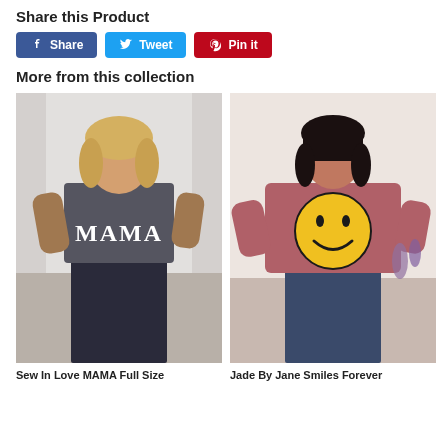Share this Product
Share  Tweet  Pin it
More from this collection
[Figure (photo): Woman wearing a gray acid-wash MAMA graphic V-neck t-shirt with dark jeans]
[Figure (photo): Woman wearing a mauve/rose smiley face graphic sweatshirt with ripped jeans]
Sew In Love MAMA Full Size
Jade By Jane Smiles Forever